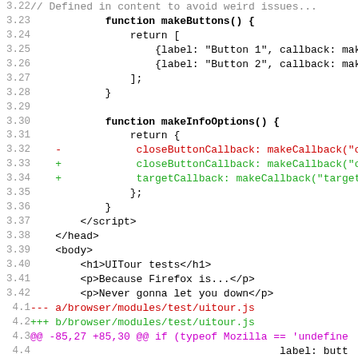Code diff showing lines 3.22 through 4.12 of a JavaScript/HTML file with diff markers (-, +) and file headers for browser/modules/test/uitour.js